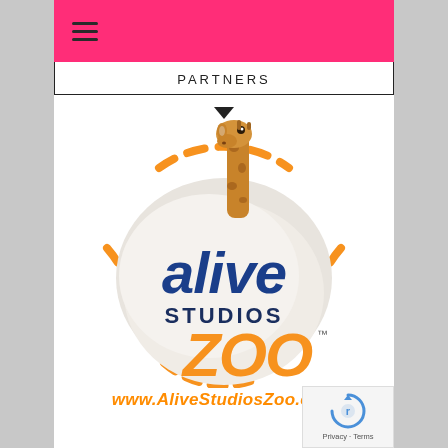≡ (hamburger menu)
PARTNERS
[Figure (logo): Alive Studios Zoo logo: a circular grey emblem with a giraffe poking out of the top, the word 'alive' in large blue bold italic text, 'STUDIOS' in smaller dark blue text, and 'ZOO' in large orange bold italic text with trademark symbol. Surrounded by orange dashed arc decorations.]
www.AliveStudiosZoo.com